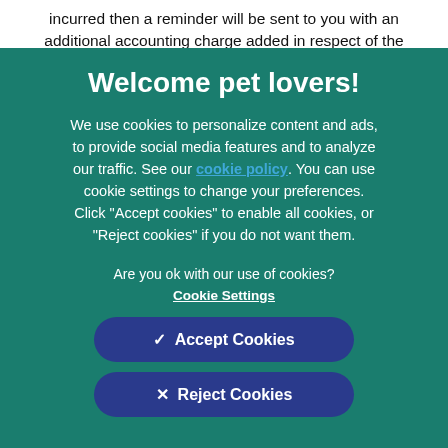incurred then a reminder will be sent to you with an additional accounting charge added in respect of the administrative costs incurred. Should it be
Welcome pet lovers!
We use cookies to personalize content and ads, to provide social media features and to analyze our traffic. See our cookie policy. You can use cookie settings to change your preferences. Click "Accept cookies" to enable all cookies, or "Reject cookies" if you do not want them.
Are you ok with our use of cookies?
Cookie Settings
✓  Accept Cookies
×  Reject Cookies